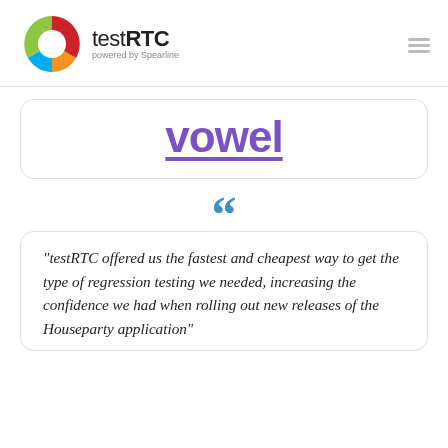[Figure (logo): testRTC powered by Spearline logo with colorful circular icon]
[Figure (logo): Vowel logo in purple with underline]
“testRTC offered us the fastest and cheapest way to get the type of regression testing we needed, increasing the confidence we had when rolling out new releases of the Houseparty application”